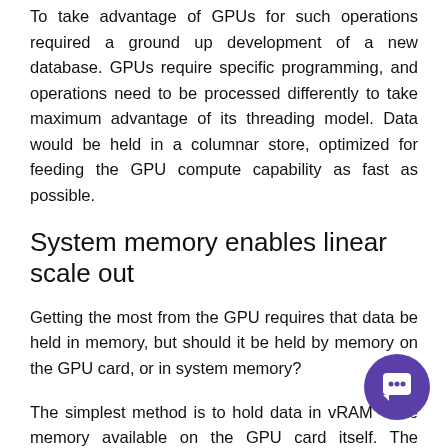To take advantage of GPUs for such operations required a ground up development of a new database. GPUs require specific programming, and operations need to be processed differently to take maximum advantage of its threading model. Data would be held in a columnar store, optimized for feeding the GPU compute capability as fast as possible.
System memory enables linear scale out
Getting the most from the GPU requires that data be held in memory, but should it be held by memory on the GPU card, or in system memory?
The simplest method is to hold data in vRAM – the memory available on the GPU card itself. The biggest benefit to this is that the transfer time is very, very fast, but the downside is that vRAM is expensive and